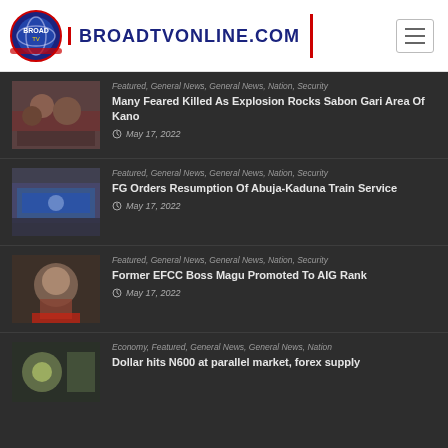BROADTVONLINE.COM
Featured, General News, General News, Nation, Security | Many Feared Killed As Explosion Rocks Sabon Gari Area Of Kano | May 17, 2022
Featured, General News, General News, Nation, Security | FG Orders Resumption Of Abuja-Kaduna Train Service | May 17, 2022
Featured, General News, General News, Nation, Security | Former EFCC Boss Magu Promoted To AIG Rank | May 17, 2022
Economy, Featured, General News, General News, Nation | Dollar hits N600 at parallel market, forex supply